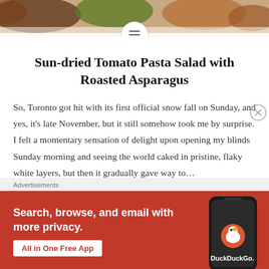[Figure (photo): Food photo header showing pasta dish with asparagus on a blue plate, with a circular menu icon overlay at the bottom center]
Sun-dried Tomato Pasta Salad with Roasted Asparagus
So, Toronto got hit with its first official snow fall on Sunday, and yes, it's late November, but it still somehow took me by surprise. I felt a momentary sensation of delight upon opening my blinds Sunday morning and seeing the world caked in pristine, flaky white layers, but then it gradually gave way to…
[Figure (screenshot): DuckDuckGo advertisement banner with orange/red background. Text reads: Search, browse, and email with more privacy. All in One Free App. Shows a smartphone with the DuckDuckGo logo and duck icon.]